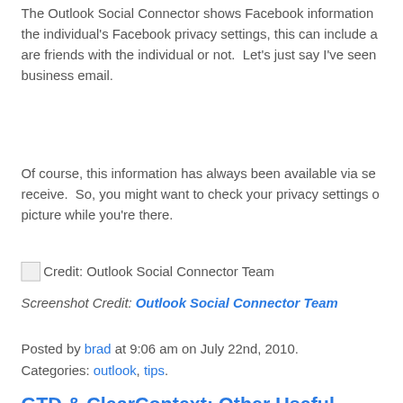The Outlook Social Connector shows Facebook information... the individual's Facebook privacy settings, this can include a... are friends with the individual or not.  Let's just say I've seen business email.
Of course, this information has always been available via se... receive.  So, you might want to check your privacy settings o... picture while you're there.
[Figure (screenshot): Broken image icon followed by text: Credit: Outlook Social Connector Team]
Screenshot Credit: Outlook Social Connector Team
Posted by brad at 9:06 am on July 22nd, 2010.
Categories: outlook, tips.
GTD & ClearContext: Other Useful Features
The release of v5.1 has made it easier than ever to impleme... Setup Guide.  See Parts 1, 2, 3, 4 & 5.